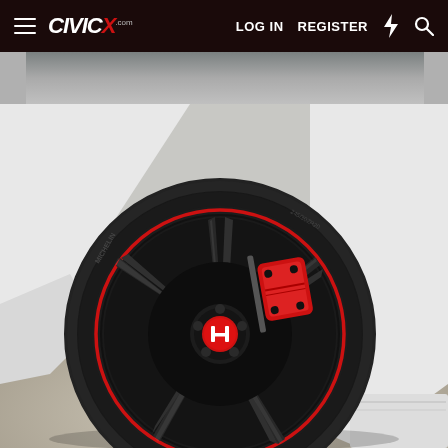CivicX.com navigation bar with hamburger menu, CIVICX logo, LOG IN, REGISTER links, and search/notification icons
[Figure (photo): Close-up photograph of a Honda Civic Type R wheel. The wheel is a black multi-spoke alloy rim with a red pinstripe accent ring around the outer edge. A red Honda 'H' center cap is visible. Behind the spokes is a large red Brembo brake caliper. The car body is white. The photo is taken at ground level showing the tire, wheel arch, and part of the white car body and grey concrete floor.]